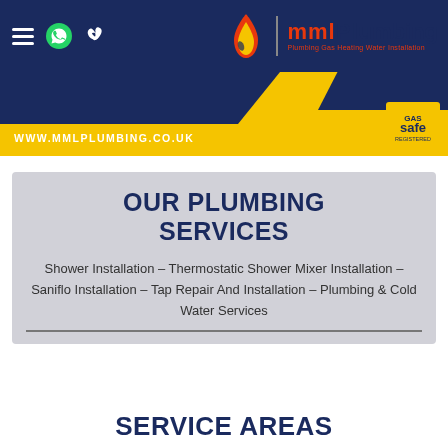MML Plumbing — www.mmlplumbing.co.uk
[Figure (logo): MML Plumbing logo with flame/water droplet icon and Gas Safe registered badge]
OUR PLUMBING SERVICES
Shower Installation – Thermostatic Shower Mixer Installation – Saniflo Installation – Tap Repair And Installation – Plumbing & Cold Water Services
SERVICE AREAS